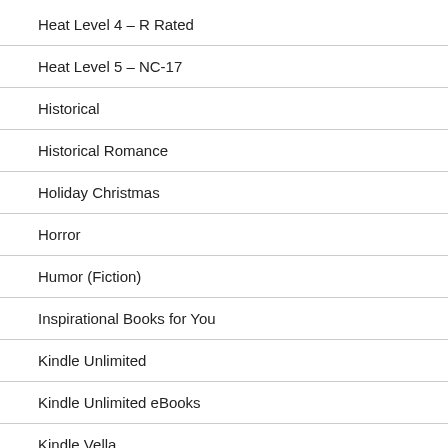Heat Level 4 – R Rated
Heat Level 5 – NC-17
Historical
Historical Romance
Holiday Christmas
Horror
Humor (Fiction)
Inspirational Books for You
Kindle Unlimited
Kindle Unlimited eBooks
Kindle Vella
Kindle Vella Serial
Limited Time Free Promotion